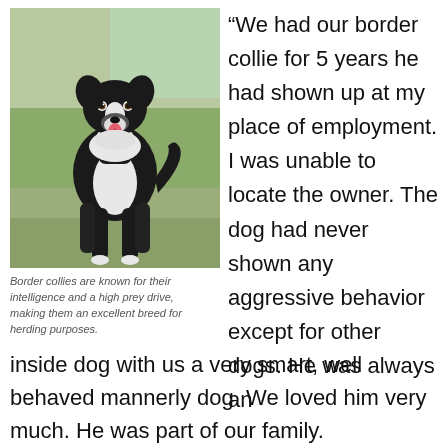[Figure (photo): A black and white border collie dog standing on grass, looking at the camera with mouth open and tongue out.]
Border collies are known for their intelligence and a high prey drive, making them an excellent breed for herding purposes.
“We had our border collie for 5 years he had shown up at my place of employment. I was unable to locate the owner. The dog had never shown any aggressive behavior except for other dogs. He was always an inside dog with us a very smart, well behaved mannerly dog. We loved him very much. He was part of our family.